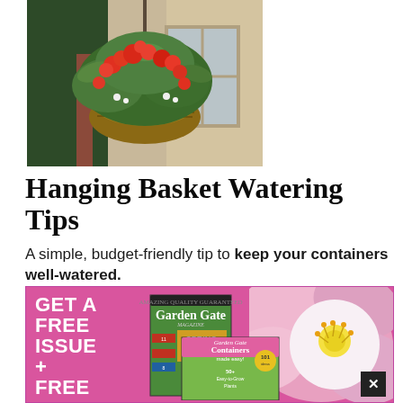[Figure (photo): Hanging basket with red and orange flowers and lush green foliage, hanging from a bracket on a house exterior]
Hanging Basket Watering Tips
A simple, budget-friendly tip to keep your containers well-watered.
[Figure (illustration): Advertisement banner with pink background showing Garden Gate magazine covers and a flower close-up. Text reads: GET A FREE ISSUE + FREE with magazine covers for Garden Gate Spring Garden Issue and Containers made easy!]